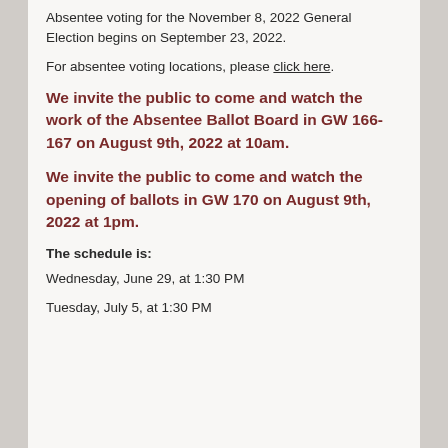Absentee voting for the November 8, 2022 General Election begins on September 23, 2022.
For absentee voting locations, please click here.
We invite the public to come and watch the work of the Absentee Ballot Board in GW 166-167 on August 9th, 2022 at 10am.
We invite the public to come and watch the opening of ballots in GW 170 on August 9th, 2022 at 1pm.
The schedule is:
Wednesday, June 29, at 1:30 PM
Tuesday, July 5, at 1:30 PM